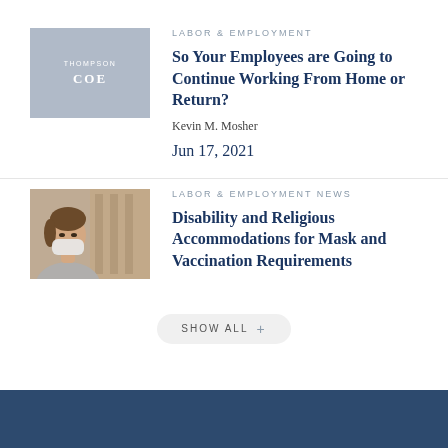[Figure (logo): Thompson Coe law firm logo on grey background]
LABOR & EMPLOYMENT
So Your Employees are Going to Continue Working From Home or Return?
Kevin M. Mosher
Jun 17, 2021
[Figure (photo): Woman wearing a face mask, seated, looking to the side]
LABOR & EMPLOYMENT NEWS
Disability and Religious Accommodations for Mask and Vaccination Requirements
SHOW ALL +